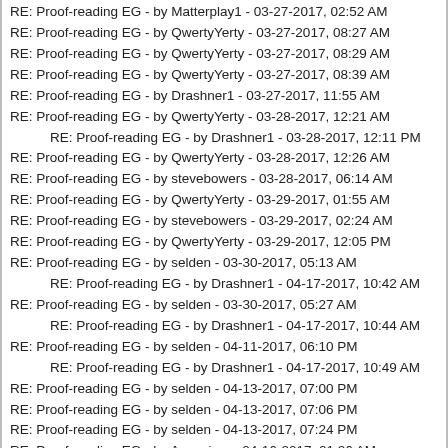RE: Proof-reading EG - by Matterplay1 - 03-27-2017, 02:52 AM
RE: Proof-reading EG - by QwertyYerty - 03-27-2017, 08:27 AM
RE: Proof-reading EG - by QwertyYerty - 03-27-2017, 08:29 AM
RE: Proof-reading EG - by QwertyYerty - 03-27-2017, 08:39 AM
RE: Proof-reading EG - by Drashner1 - 03-27-2017, 11:55 AM
RE: Proof-reading EG - by QwertyYerty - 03-28-2017, 12:21 AM
RE: Proof-reading EG - by Drashner1 - 03-28-2017, 12:11 PM
RE: Proof-reading EG - by QwertyYerty - 03-28-2017, 12:26 AM
RE: Proof-reading EG - by stevebowers - 03-28-2017, 06:14 AM
RE: Proof-reading EG - by QwertyYerty - 03-29-2017, 01:55 AM
RE: Proof-reading EG - by stevebowers - 03-29-2017, 02:24 AM
RE: Proof-reading EG - by QwertyYerty - 03-29-2017, 12:05 PM
RE: Proof-reading EG - by selden - 03-30-2017, 05:13 AM
RE: Proof-reading EG - by Drashner1 - 04-17-2017, 10:42 AM
RE: Proof-reading EG - by selden - 03-30-2017, 05:27 AM
RE: Proof-reading EG - by Drashner1 - 04-17-2017, 10:44 AM
RE: Proof-reading EG - by selden - 04-11-2017, 06:10 PM
RE: Proof-reading EG - by Drashner1 - 04-17-2017, 10:49 AM
RE: Proof-reading EG - by selden - 04-13-2017, 07:00 PM
RE: Proof-reading EG - by selden - 04-13-2017, 07:06 PM
RE: Proof-reading EG - by selden - 04-13-2017, 07:24 PM
RE: Proof-reading EG - by Avengium - 04-16-2017, 01:26 AM
RE: Proof-reading EG - by Drashner1 - 04-17-2017, 12:54 PM
RE: Proof-reading EG - by QwertyYerty - 04-19-2017, 12:47 PM
RE: Proof-reading EG - by stevebowers - 04-30-2017, 10:38 AM